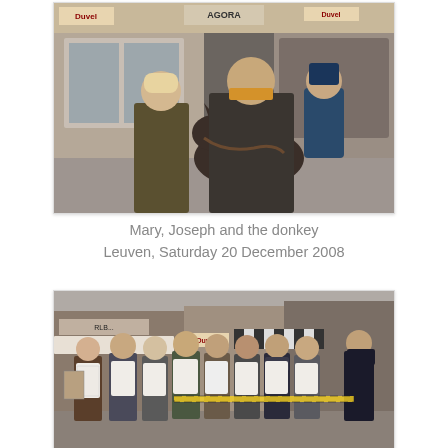[Figure (photo): Outdoor street scene in Leuven showing a man in a dark jacket with yellow scarf, a younger person in a military-style jacket holding a donkey, and another person riding the donkey. Background shows a cafe with 'Duvel' and 'AGORA' signage.]
Mary, Joseph and the donkey
Leuven, Saturday 20 December 2008
[Figure (photo): Group of people standing in a line on a cobblestone street in Leuven, wearing white bibs/aprons with text, holding papers. Storefronts with awnings visible in background. A person in dark uniform stands at the right.]